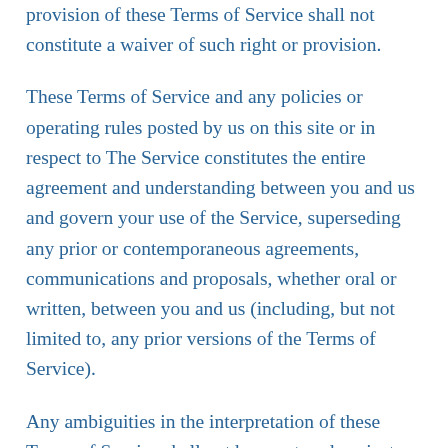provision of these Terms of Service shall not constitute a waiver of such right or provision.
These Terms of Service and any policies or operating rules posted by us on this site or in respect to The Service constitutes the entire agreement and understanding between you and us and govern your use of the Service, superseding any prior or contemporaneous agreements, communications and proposals, whether oral or written, between you and us (including, but not limited to, any prior versions of the Terms of Service).
Any ambiguities in the interpretation of these Terms of Service shall not be construed against the drafting party.